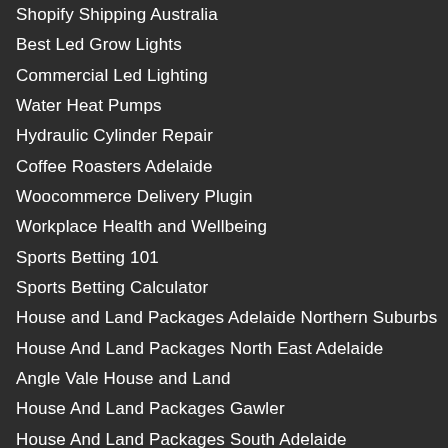Shopify Shipping Australia
Best Led Grow Lights
Commercial Led Lighting
Water Heat Pumps
Hydraulic Cylinder Repair
Coffee Roasters Adelaide
Woocommerce Delivery Plugin
Workplace Health and Wellbeing
Sports Betting 101
Sports Betting Calculator
House and Land Packages Adelaide Northern Suburbs
House And Land Packages North East Adelaide
Angle Vale House and Land
House And Land Packages Gawler
House And Land Packages South Adelaide
House And Land Packages Seaford
plumber footscray
blocked drains point cook
plumber point cook
plumber melbourne
plumber hoppers crossing